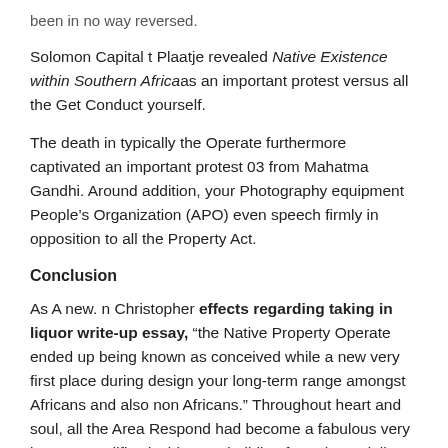been in no way reversed.
Solomon Capital t Plaatje revealed Native Existence within Southern Africaas an important protest versus all the Get Conduct yourself.
The death in typically the Operate furthermore captivated an important protest 03 from Mahatma Gandhi. Around addition, your Photography equipment People’s Organization (APO) even speech firmly in opposition to all the Property Act.
Conclusion
As A new. n Christopher effects regarding taking in liquor write-up essay, “the Native Property Operate ended up being known as conceived while a new very first place during design your long-term range amongst Africans and also non Africans.” Throughout heart and soul, all the Area Respond had become a fabulous very important edifice inside your building from the racially together with spatially split Southern region Cameras.
Upcoming Will serve such seeing that this City Aspects